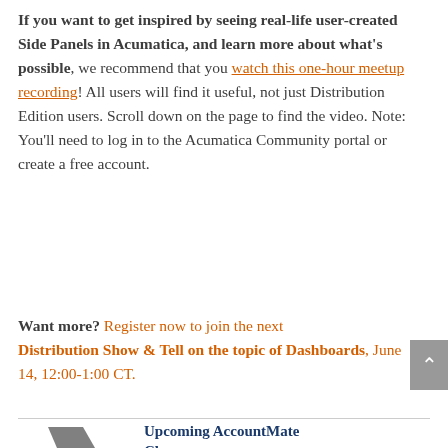If you want to get inspired by seeing real-life user-created Side Panels in Acumatica, and learn more about what's possible, we recommend that you watch this one-hour meetup recording! All users will find it useful, not just Distribution Edition users. Scroll down on the page to find the video. Note: You'll need to log in to the Acumatica Community portal or create a free account.
Want more? Register now to join the next Distribution Show & Tell on the topic of Dashboards, June 14, 12:00-1:00 CT.
[Figure (logo): AccountMate logo — grey and blue stylized chevron/arrow graphic]
Upcoming AccountMate Classes
1. Core Product Modules: